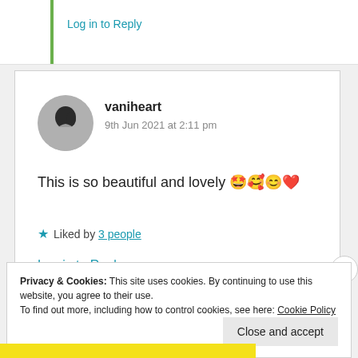Log in to Reply
vaniheart
9th Jun 2021 at 2:11 pm
This is so beautiful and lovely 🤩🥰😊❤️
★ Liked by 3 people
Log in to Reply
Privacy & Cookies: This site uses cookies. By continuing to use this website, you agree to their use.
To find out more, including how to control cookies, see here: Cookie Policy
Close and accept